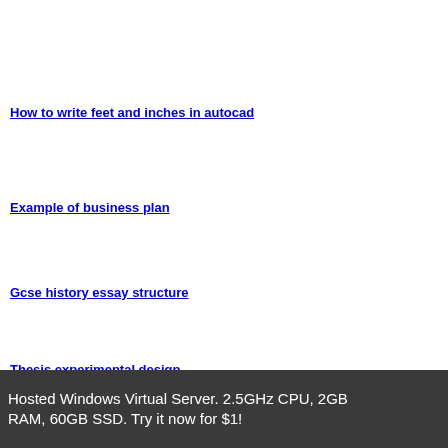How to write feet and inches in autocad
Example of business plan
Gcse history essay structure
Thesis experimental design
Hosted Windows Virtual Server. 2.5GHz CPU, 2GB RAM, 60GB SSD. Try it now for $1!